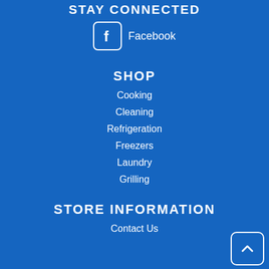STAY CONNECTED
[Figure (logo): Facebook icon with rounded square border and 'f' logo, followed by text 'Facebook']
SHOP
Cooking
Cleaning
Refrigeration
Freezers
Laundry
Grilling
STORE INFORMATION
Contact Us